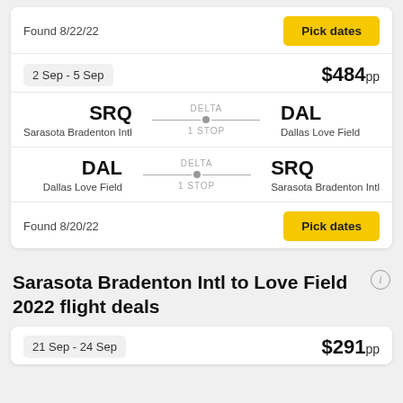Found 8/22/22
Pick dates
2 Sep - 5 Sep
$484pp
SRQ Sarasota Bradenton Intl — DELTA 1 STOP — DAL Dallas Love Field
DAL Dallas Love Field — DELTA 1 STOP — SRQ Sarasota Bradenton Intl
Found 8/20/22
Pick dates
Sarasota Bradenton Intl to Love Field 2022 flight deals
21 Sep - 24 Sep
$291pp